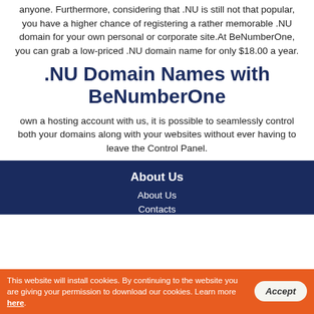anyone. Furthermore, considering that .NU is still not that popular, you have a higher chance of registering a rather memorable .NU domain for your own personal or corporate site.At BeNumberOne, you can grab a low-priced .NU domain name for only $18.00 a year.
.NU Domain Names with BeNumberOne
own a hosting account with us, it is possible to seamlessly control both your domains along with your websites without ever having to leave the Control Panel.
About Us
About Us
Contacts
Live Chat
This website will install cookies. By continuing to the website you are giving your permission to download our cookies. Learn more here.